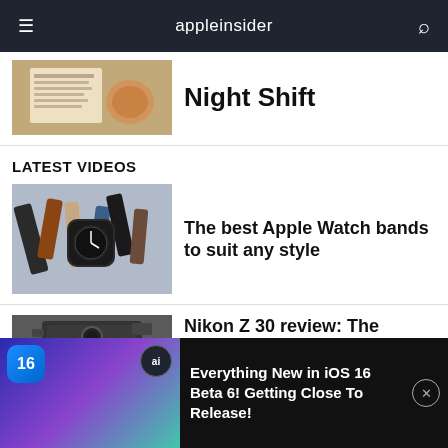appleinsider
[Figure (photo): Book and croissant on a table, partial view — article thumbnail for Night Shift story]
Night Shift
LATEST VIDEOS
[Figure (photo): Apple Watch bands spread on a flat surface — various colors and styles]
The best Apple Watch bands to suit any style
Nikon Z 30 review: The
[Figure (screenshot): Ad banner: iOS 16 Beta 6 video preview with phone showing home screen, play button, New in Beta 6! text]
Everything New in iOS 16 Beta 6! Getting Close To Release!